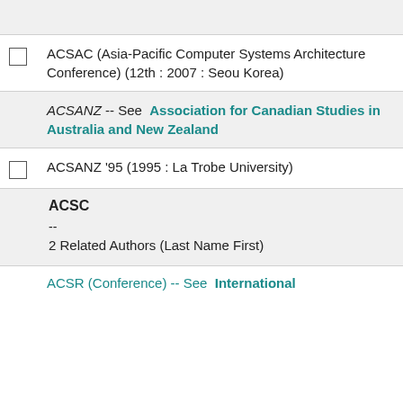ACSAC (Asia-Pacific Computer Systems Architecture Conference) (12th : 2007 : Seoul, Korea)
ACSANZ -- See  Association for Canadian Studies in Australia and New Zealand
ACSANZ '95 (1995 : La Trobe University)
ACSC
--
2 Related Authors (Last Name First)
ACSR (Conference) -- See  International...